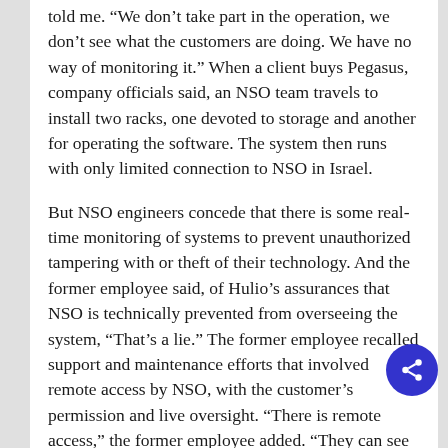told me. “We don’t take part in the operation, we don’t see what the customers are doing. We have no way of monitoring it.” When a client buys Pegasus, company officials said, an NSO team travels to install two racks, one devoted to storage and another for operating the software. The system then runs with only limited connection to NSO in Israel.
But NSO engineers concede that there is some real-time monitoring of systems to prevent unauthorized tampering with or theft of their technology. And the former employee said, of Hulio’s assurances that NSO is technically prevented from overseeing the system, “That’s a lie.” The former employee recalled support and maintenance efforts that involved remote access by NSO, with the customer’s permission and live oversight. “There is remote access,” the former employee added. “They can see everything that goes on. They have access to the database, they have access to all of the data.” The senior European law-enforcement official told me, “They can have remote access to the system when we authorize